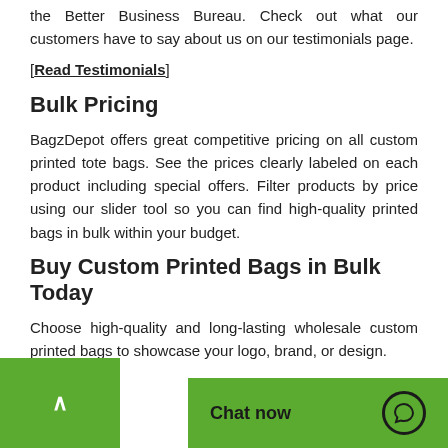the Better Business Bureau. Check out what our customers have to say about us on our testimonials page.
[Read Testimonials]
Bulk Pricing
BagzDepot offers great competitive pricing on all custom printed tote bags. See the prices clearly labeled on each product including special offers. Filter products by price using our slider tool so you can find high-quality printed bags in bulk within your budget.
Buy Custom Printed Bags in Bulk Today
Choose high-quality and long-lasting wholesale custom printed bags to showcase your logo, brand, or design.
[Shop Now]